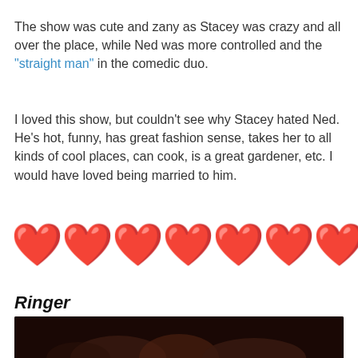The show was cute and zany as Stacey was crazy and all over the place, while Ned was more controlled and the “straight man” in the comedic duo.
I loved this show, but couldn’t see why Stacey hated Ned. He’s hot, funny, has great fashion sense, takes her to all kinds of cool places, can cook, is a great gardener, etc. I would have loved being married to him.
[Figure (other): Seven red 3D heart emojis in a row]
Ringer
[Figure (photo): Dark photo strip showing people at the bottom of the page]